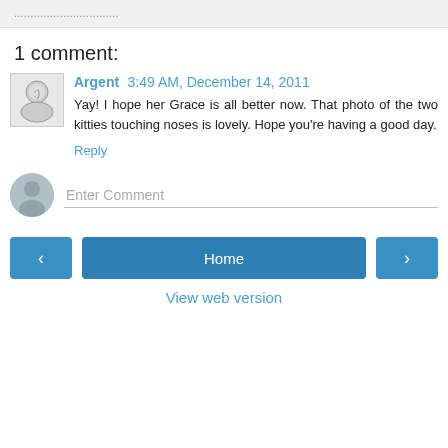................................
1 comment:
Argent  3:49 AM, December 14, 2011
Yay! I hope her Grace is all better now. That photo of the two kitties touching noses is lovely. Hope you're having a good day.
Reply
Enter Comment
< Home > View web version